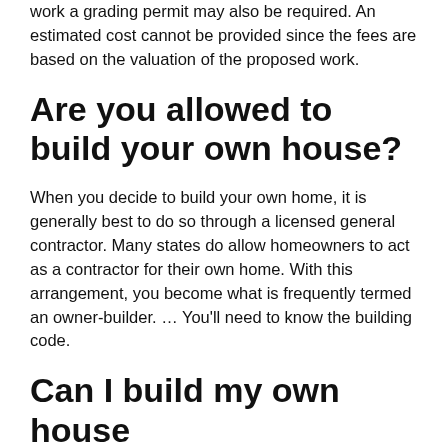work a grading permit may also be required. An estimated cost cannot be provided since the fees are based on the valuation of the proposed work.
Are you allowed to build your own house?
When you decide to build your own home, it is generally best to do so through a licensed general contractor. Many states do allow homeowners to act as a contractor for their own home. With this arrangement, you become what is frequently termed an owner-builder. … You'll need to know the building code.
Can I build my own house